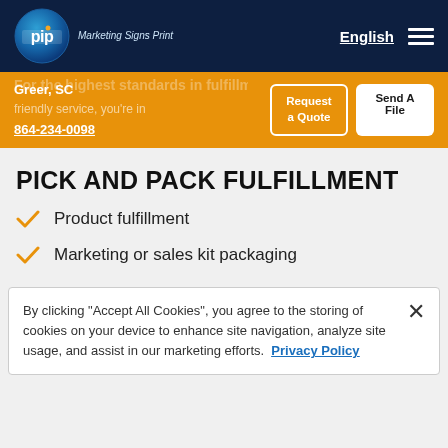[Figure (logo): PIP Marketing Signs Print circular logo with blue gradient circle and white PIP text, tagline Marketing Signs Print in italic text beside it]
English
Greer, SC | 864-234-0098 | Request a Quote | Send A File
PICK AND PACK FULFILLMENT
Product fulfillment
Marketing or sales kit packaging
By clicking “Accept All Cookies”, you agree to the storing of cookies on your device to enhance site navigation, analyze site usage, and assist in our marketing efforts. Privacy Policy